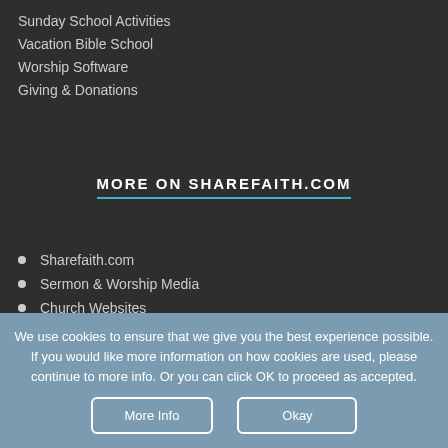Sunday School Activities
Vacation Bible School
Worship Software
Giving & Donations
MORE ON SHAREFAITH.COM
Sharefaith.com
Sermon & Worship Media
Church Websites
We use cookies to ensure that we give you the best experience possible.
If you would like more information on how cookies are used, please continue to more info. Or you can click OK to proceed as accepted.
More Info
Okay